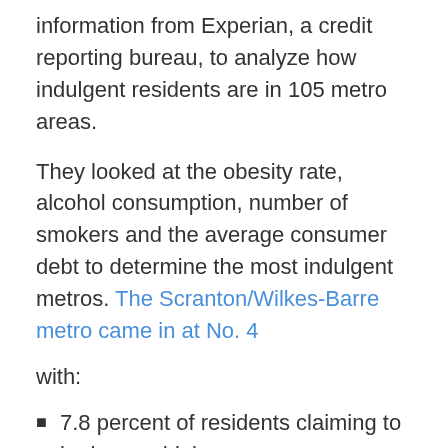information from Experian, a credit reporting bureau, to analyze how indulgent residents are in 105 metro areas.
They looked at the obesity rate, alcohol consumption, number of smokers and the average consumer debt to determine the most indulgent metros. The Scranton/Wilkes-Barre metro came in at No. 4 with:
7.8 percent of residents claiming to be heavy drinkers.
21.5 percent who say they smoke everyday.
An obesity rate of 31.9 percent.
$28,974 in average consumer debt.
Read more: